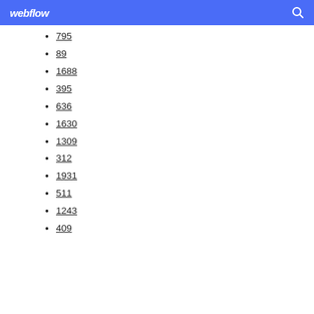webflow
795
89
1688
395
636
1630
1309
312
1931
511
1243
409